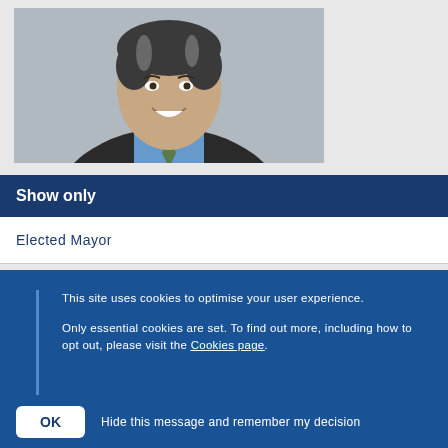[Figure (photo): Headshot of a middle-aged man with grey-streaked dark hair, wearing a dark suit jacket, light blue shirt, and green tie, smiling, against a grey background.]
Show only
Elected Mayor
This site uses cookies to optimise your user experience.
Only essential cookies are set. To find out more, including how to opt out, please visit the Cookies page.
OK   Hide this message and remember my decision